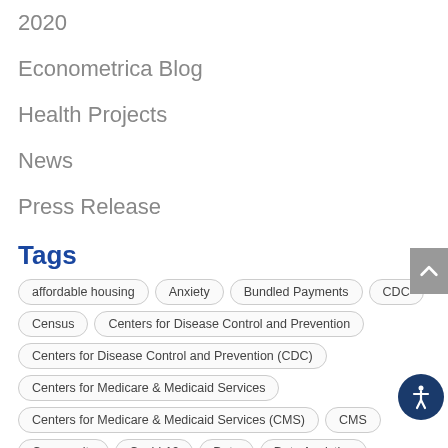2020
Econometrica Blog
Health Projects
News
Press Release
Tags
affordable housing
Anxiety
Bundled Payments
CDC
Census
Centers for Disease Control and Prevention
Centers for Disease Control and Prevention (CDC)
Centers for Medicare & Medicaid Services
Centers for Medicare & Medicaid Services (CMS)
CMS
Community
Covid-19
Data
Data Analytics